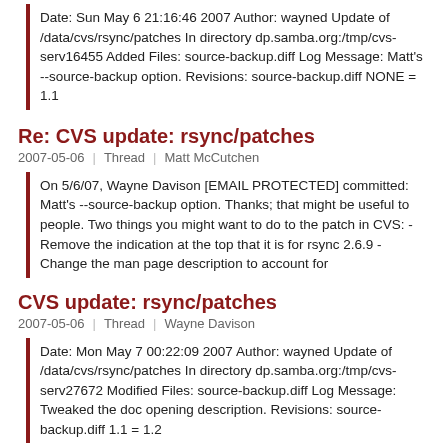Date: Sun May 6 21:16:46 2007 Author: wayned Update of /data/cvs/rsync/patches In directory dp.samba.org:/tmp/cvs-serv16455 Added Files: source-backup.diff Log Message: Matt's --source-backup option. Revisions: source-backup.diff NONE = 1.1
Re: CVS update: rsync/patches
2007-05-06 | Thread | Matt McCutchen
On 5/6/07, Wayne Davison [EMAIL PROTECTED] committed: Matt's --source-backup option. Thanks; that might be useful to people. Two things you might want to do to the patch in CVS: - Remove the indication at the top that it is for rsync 2.6.9 - Change the man page description to account for
CVS update: rsync/patches
2007-05-06 | Thread | Wayne Davison
Date: Mon May 7 00:22:09 2007 Author: wayned Update of /data/cvs/rsync/patches In directory dp.samba.org:/tmp/cvs-serv27672 Modified Files: source-backup.diff Log Message: Tweaked the doc opening description. Revisions: source-backup.diff 1.1 = 1.2
CVS update: rsync/patches